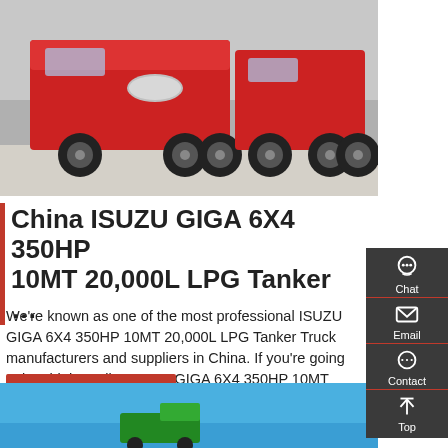[Figure (photo): Red ISUZU GIGA heavy trucks parked in a lot, seen from front-side angle]
China ISUZU GIGA 6X4 350HP 10MT 20,000L LPG Tanker …
We're known as one of the most professional ISUZU GIGA 6X4 350HP 10MT 20,000L LPG Tanker Truck manufacturers and suppliers in China. If you're going to buy high quality ISUZU GIGA 6X4 350HP 10MT 20,000L LPG Tanker Truck at competitive price, welcome to get more information from our factory.
[Figure (infographic): Sidebar with Chat, Email, Contact, Top navigation icons on dark background]
Get a Quote
[Figure (photo): Blue sky background with partial view of green tanker truck at bottom of page]